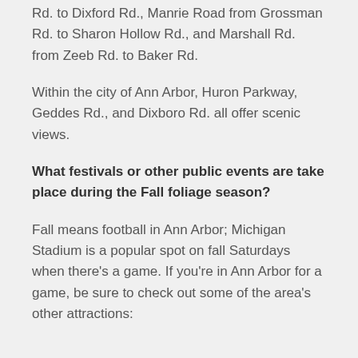Rd. to Dixford Rd., Manrie Road from Grossman Rd. to Sharon Hollow Rd., and Marshall Rd. from Zeeb Rd. to Baker Rd.
Within the city of Ann Arbor, Huron Parkway, Geddes Rd., and Dixboro Rd. all offer scenic views.
What festivals or other public events are take place during the Fall foliage season?
Fall means football in Ann Arbor; Michigan Stadium is a popular spot on fall Saturdays when there's a game. If you're in Ann Arbor for a game, be sure to check out some of the area's other attractions: